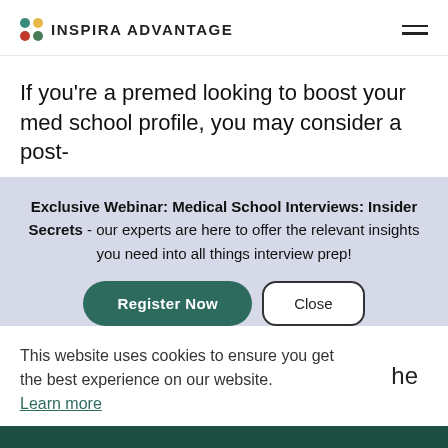INSPIRA ADVANTAGE
If you’re a premed looking to boost your med school profile, you may consider a post-
Exclusive Webinar: Medical School Interviews: Insider Secrets - our experts are here to offer the relevant insights you need into all things interview prep!
Register Now
Close
This website uses cookies to ensure you get the best experience on our website.
Learn more
he
Got it!